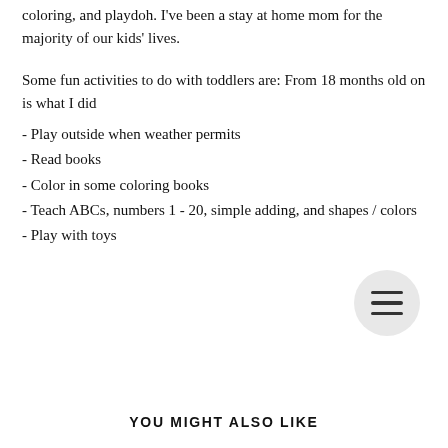coloring, and playdoh. I've been a stay at home mom for the majority of our kids' lives.
Some fun activities to do with toddlers are: From 18 months old on is what I did
- Play outside when weather permits
- Read books
- Color in some coloring books
- Teach ABCs, numbers 1 - 20, simple adding, and shapes / colors
- Play with toys
YOU MIGHT ALSO LIKE